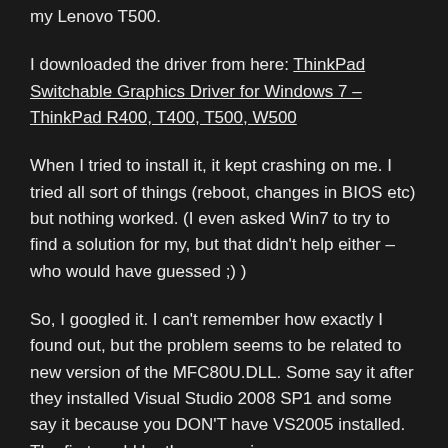my Lenovo T500.
I downloaded the driver from here: ThinkPad Switchable Graphics Driver for Windows 7 – ThinkPad R400, T400, T500, W500
When I tried to install it, it kept crashing on me. I tried all sort of things (reboot, changes in BIOS etc) but nothing worked. (I even asked Win7 to try to find a solution for my, but that didn't help either – who would have guessed ;) )
So, I googled it. I can't remember how exactly I found out, but the problem seems to be related to new version of the MFC80U.DLL. Some say it after they installed Visual Studio 2008 SP1 and some say it because you DON'T have VS2005 installed. The first could be the reason in my case.